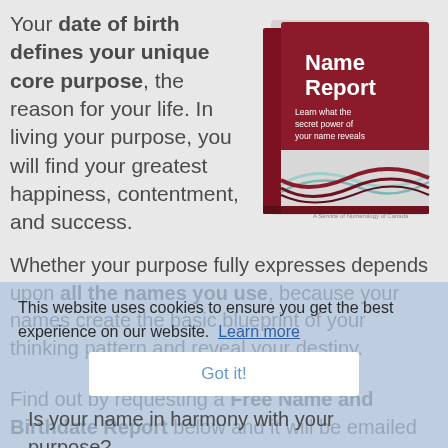Your date of birth defines your unique core purpose, the reason for your life. In living your purpose, you will find your greatest happiness, contentment, and success.
[Figure (photo): Book cover of 'Name Report - Learn what the secret power of your name reveals' with a dark red cover and flowing wave design at the bottom.]
Whether your purpose fully expresses depends upon all the names you use, because your names create the basic blueprint of your thinking pattern and reveal your destiny.
Is your name in harmony with your purpose?
This website uses cookies to ensure you get the best experience on our website. Learn more
Got it!
Find out by requesting a Free Name and Birthdate Report below and it will be emailed